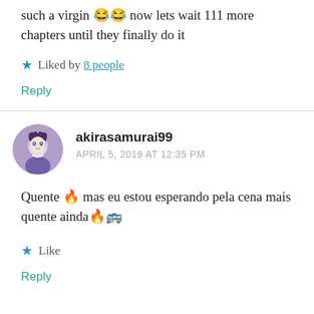such a virgin 😂😂 now lets wait 111 more chapters until they finally do it
★ Liked by 8 people
Reply
akirasamurai99
APRIL 5, 2019 AT 12:35 PM
Quente 🔥 mas eu estou esperando pela cena mais quente ainda🔥🚌
★ Like
Reply